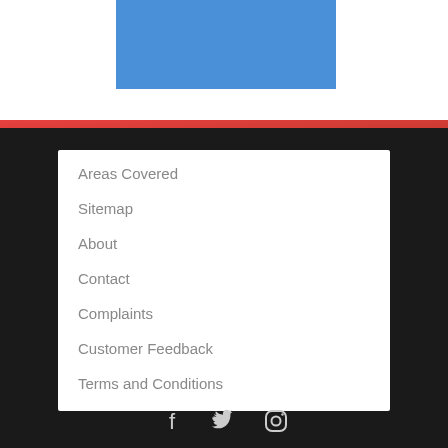[Figure (other): Blue rectangular banner/header image at top center]
Areas Covered
Sitemap
About
Contact
Complaints
Customer Feedback
Terms and Conditions
[Figure (other): Social media icons: Facebook, Twitter, Instagram]